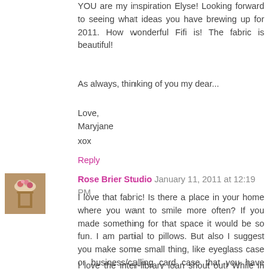YOU are my inspiration Elyse! Looking forward to seeing what ideas you have brewing up for 2011. How wonderful Fifi is! The fabric is beautiful!
As always, thinking of you my dear...
Love,
Maryjane
xox
Reply
[Figure (photo): Small square avatar photo showing a floral arrangement on what appears to be a chair, in warm brown/tan tones]
Rose Brier Studio  January 11, 2011 at 12:19 PM
I love that fabric! Is there a place in your home where you want to smile more often? If you made something for that space it would be so fun. I am partial to pillows. But also I suggest you make some small thing, like eyeglass case or business/calling card case that you have have in your purse and always with you.
I love the inter-library loan shout out! While in Library School, I worked in the ILL dept at BRL, wonderful system.